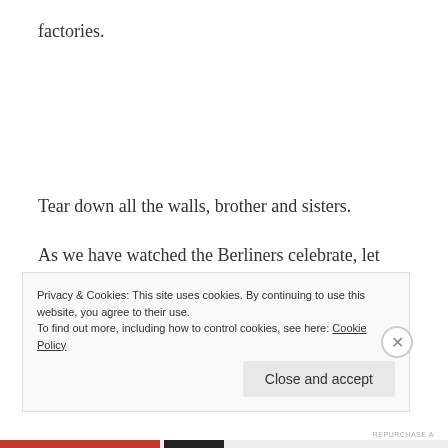factories.
Tear down all the walls, brother and sisters.
As we have watched the Berliners celebrate, let them watch us observe Veterans Day. The cost of freedom is buried in the ground of France, England, Germany, and Italy. It is buried in the ground of Poland, Hungary,
Privacy & Cookies: This site uses cookies. By continuing to use this website, you agree to their use.
To find out more, including how to control cookies, see here: Cookie Policy
Close and accept